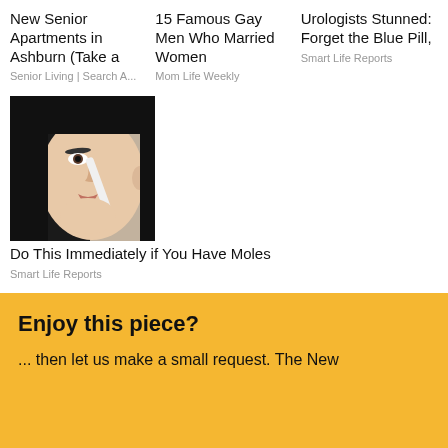New Senior Apartments in Ashburn (Take a
Senior Living | Search A...
15 Famous Gay Men Who Married Women
Mom Life Weekly
Urologists Stunned: Forget the Blue Pill,
Smart Life Reports
[Figure (photo): Woman applying something to her nose with a brush]
Do This Immediately if You Have Moles
Smart Life Reports
Enjoy this piece?
... then let us make a small request. The New